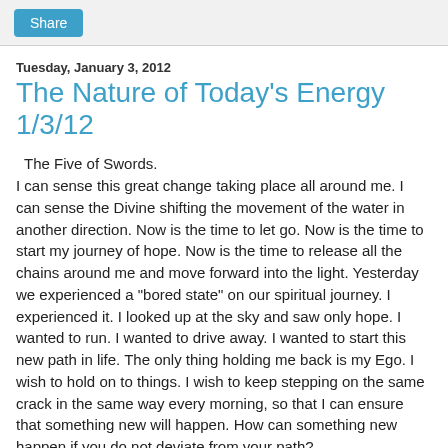Share
Tuesday, January 3, 2012
The Nature of Today's Energy 1/3/12
The Five of Swords.
I can sense this great change taking place all around me. I can sense the Divine shifting the movement of the water in another direction. Now is the time to let go. Now is the time to start my journey of hope. Now is the time to release all the chains around me and move forward into the light. Yesterday we experienced a "bored state" on our spiritual journey. I experienced it. I looked up at the sky and saw only hope. I wanted to run. I wanted to drive away. I wanted to start this new path in life. The only thing holding me back is my Ego. I wish to hold on to things. I wish to keep stepping on the same crack in the same way every morning, so that I can ensure that something new will happen. How can something new happen if you do not deviate from your path?
How can something new take place if you do not leave your comfort zone? How can you begin to find love if you do not